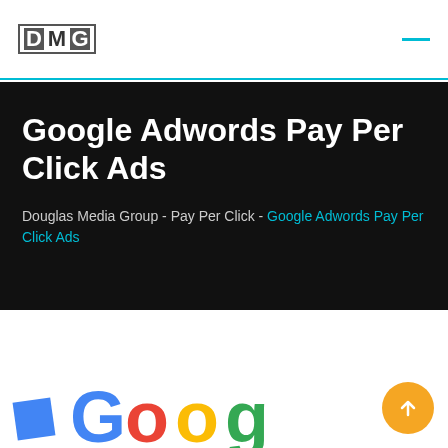DMG
Google Adwords Pay Per Click Ads
Douglas Media Group - Pay Per Click - Google Adwords Pay Per Click Ads
[Figure (logo): Partial Google logo visible at the bottom of the page]
[Figure (other): Orange circular button with upward arrow icon]